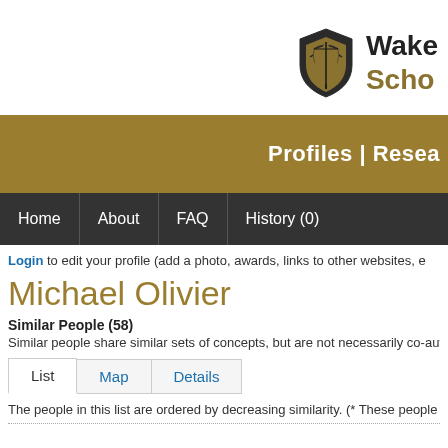[Figure (logo): Wake Forest School logo with gold shield and text 'Wake... Scho...']
Profiles | Resea...
Home | About | FAQ | History (0)
Login to edit your profile (add a photo, awards, links to other websites, e...
Michael Olivier
Similar People (58)
Similar people share similar sets of concepts, but are not necessarily co-autho...
List   Map   Details
The people in this list are ordered by decreasing similarity. (* These people are...